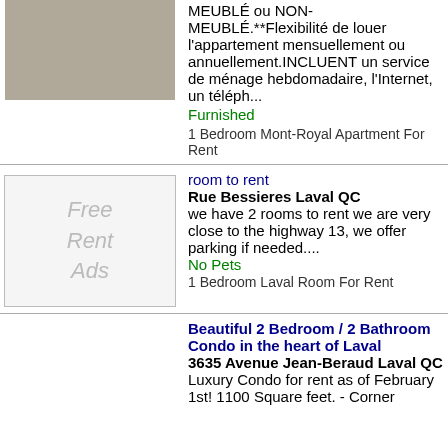[Figure (photo): Partial apartment listing photo cropped at top of page]
MEUBLÉ ou NON-MEUBLÉ.**Flexibilité de louer l'appartement mensuellement ou annuellement.INCLUENT un service de ménage hebdomadaire, l'Internet, un téléph...
Furnished
1 Bedroom Mont-Royal Apartment For Rent
room to rent
Rue Bessieres Laval QC
[Figure (other): Placeholder image with text: Free Rent Ads]
we have 2 rooms to rent we are very close to the highway 13, we offer parking if needed....
No Pets
1 Bedroom Laval Room For Rent
Beautiful 2 Bedroom / 2 Bathroom Condo in the heart of Laval
3635 Avenue Jean-Beraud Laval QC
Luxury Condo for rent as of February 1st! 1100 Square feet. - Corner